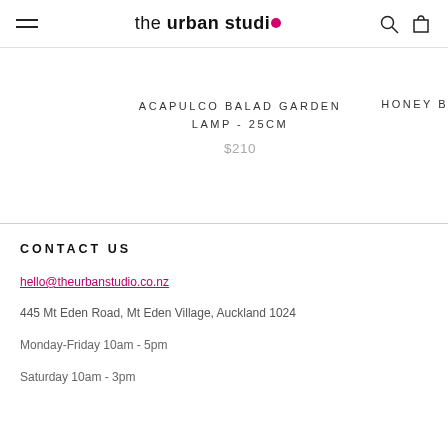the urban studio
ACAPULCO BALAD GARDEN LAMP - 25CM
$210
HONEY B
CONTACT US
hello@theurbanstudio.co.nz
445 Mt Eden Road, Mt Eden Village, Auckland 1024
Monday-Friday 10am - 5pm
Saturday 10am - 3pm